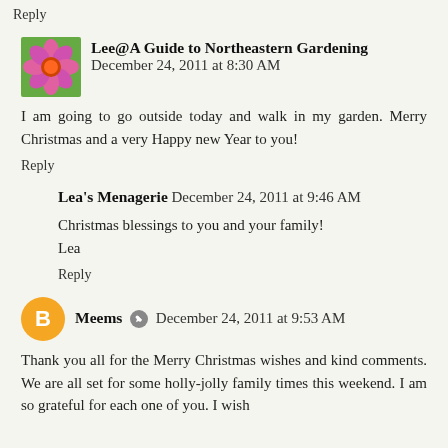Reply
Lee@A Guide to Northeastern Gardening December 24, 2011 at 8:30 AM
I am going to go outside today and walk in my garden. Merry Christmas and a very Happy new Year to you!
Reply
Lea's Menagerie December 24, 2011 at 9:46 AM
Christmas blessings to you and your family!
Lea
Reply
Meems December 24, 2011 at 9:53 AM
Thank you all for the Merry Christmas wishes and kind comments. We are all set for some holly-jolly family times this weekend. I am so grateful for each one of you. I wish